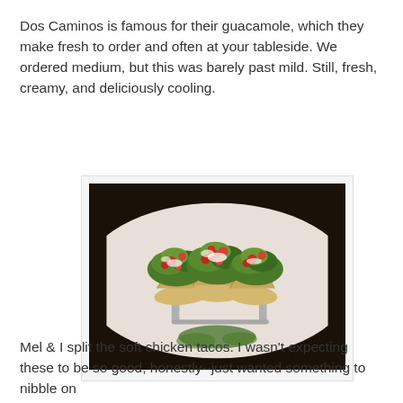Dos Caminos is famous for their guacamole, which they make fresh to order and often at your tableside. We ordered medium, but this was barely past mild. Still, fresh, creamy, and deliciously cooling.
[Figure (photo): Three soft chicken tacos in a metal taco holder on a dark plate, topped with fresh lettuce, pico de gallo (diced tomatoes), and white sauce/sour cream.]
Mel & I split the soft chicken tacos. I wasn't expecting these to be so good, honestly--just wanted something to nibble on